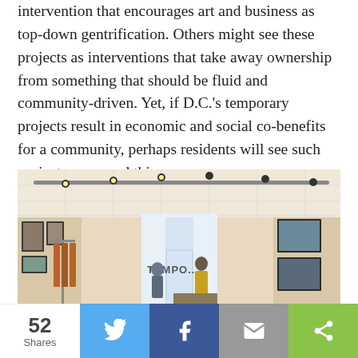intervention that encourages art and business as top-down gentrification. Others might see these projects as interventions that take away ownership from something that should be fluid and community-driven. Yet, if D.C.'s temporary projects result in economic and social co-benefits for a community, perhaps residents will see such projects as a good thing.
[Figure (photo): Interior of a pop-up retail shop ('TEMPO...') with track lighting, display tables with merchandise, clothing racks, framed artwork on walls, and two people visible near the entrance.]
52 Shares